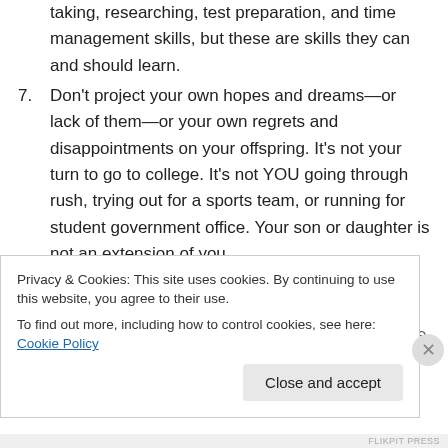taking, researching, test preparation, and time management skills, but these are skills they can and should learn.
7. Don’t project your own hopes and dreams—or lack of them—or your own regrets and disappointments on your offspring. It’s not your turn to go to college. It’s not YOU going through rush, trying out for a sports team, or running for student government office. Your son or daughter is not an extension of you.
8. No matter what your student tells you, most professors want your child to do well. They hold regular office…
Privacy & Cookies: This site uses cookies. By continuing to use this website, you agree to their use.
To find out more, including how to control cookies, see here: Cookie Policy